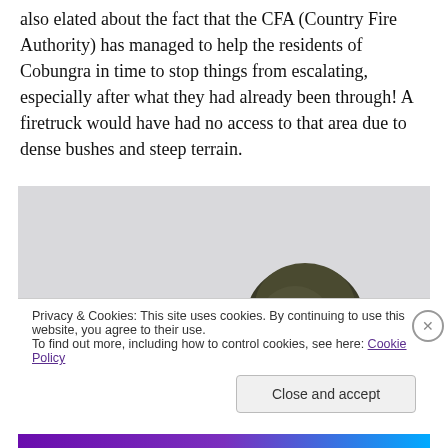also elated about the fact that the CFA (Country Fire Authority) has managed to help the residents of Cobungra in time to stop things from escalating, especially after what they had already been through! A firetruck would have had no access to that area due to dense bushes and steep terrain.
[Figure (photo): Outdoor photo showing a large tree with dark green foliage against a light grey overcast sky. The tree is positioned towards the right-centre of the image.]
Privacy & Cookies: This site uses cookies. By continuing to use this website, you agree to their use.
To find out more, including how to control cookies, see here: Cookie Policy